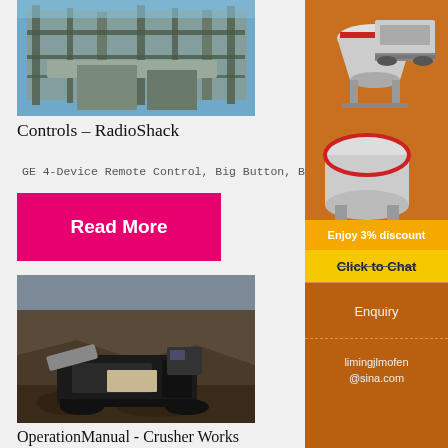[Figure (photo): Industrial processing plant or crusher facility with metal structures, conveyors, and large machinery against a blue sky.]
Controls – RadioShack
GE 4-Device Remote Control, Big Button, Blue L…
Read More
[Figure (photo): Large mobile jaw crusher machine in an open-pit quarry or mining site with rocky terrain.]
OperationManual - Crusher Works
[Figure (photo): Advertisement sidebar showing crusher/mill machinery images with orange background, discount offer, contact details.]
Enjoy 3% discount
Click to Chat
Enquiry
limingjlmofen@sina.com